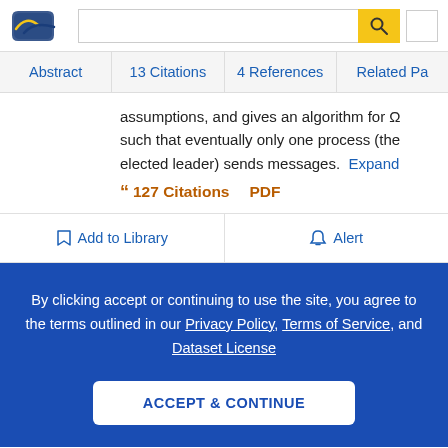Semantic Scholar navigation with logo, search bar, and profile button
Abstract | 13 Citations | 4 References | Related Pa...
assumptions, and gives an algorithm for Ω such that eventually only one process (the elected leader) sends messages. Expand
127 Citations  PDF
Add to Library   Alert
By clicking accept or continuing to use the site, you agree to the terms outlined in our Privacy Policy, Terms of Service, and Dataset License
ACCEPT & CONTINUE